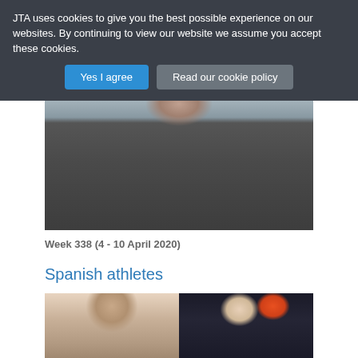JTA uses cookies to give you the best possible experience on our websites. By continuing to view our website we assume you accept these cookies.
Yes I agree | Read our cookie policy
[Figure (photo): Close-up photo of a man with beard wearing a dark suit jacket, white shirt and black tie]
Week 338 (4 - 10 April 2020)
Spanish athletes
[Figure (photo): Two side-by-side photos of Spanish athletes: left shows a young man with dark hair, right shows a basketball player holding a ball]